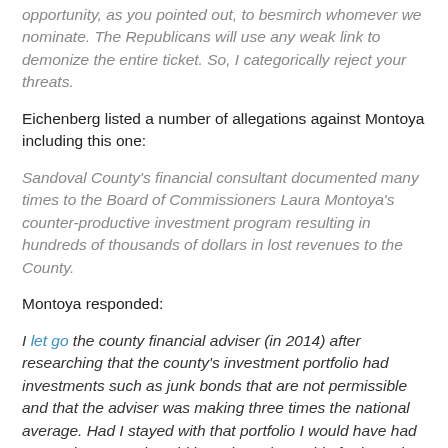opportunity, as you pointed out, to besmirch whomever we nominate. The Republicans will use any weak link to demonize the entire ticket. So, I categorically reject your threats.
Eichenberg listed a number of allegations against Montoya including this one:
Sandoval County's financial consultant documented many times to the Board of Commissioners Laura Montoya's counter-productive investment program resulting in hundreds of thousands of dollars in lost revenues to the County.
Montoya responded:
I let go the county financial adviser (in 2014) after researching that the county's investment portfolio had investments such as junk bonds that are not permissible and that the adviser was making three times the national average. Had I stayed with that portfolio I would have had severe losses and could have been in trouble for investing in